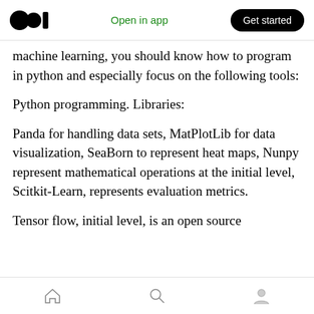Open in app | Get started
machine learning, you should know how to program in python and especially focus on the following tools:
Python programming. Libraries:
Panda for handling data sets, MatPlotLib for data visualization, SeaBorn to represent heat maps, Nunpy represent mathematical operations at the initial level, Scitkit-Learn, represents evaluation metrics.
Tensor flow, initial level, is an open source
[home] [search] [profile]